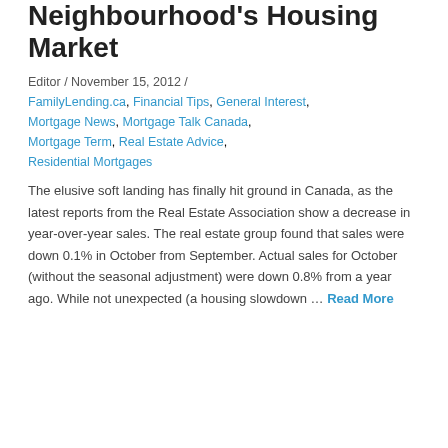Neighbourhood's Housing Market
Editor / November 15, 2012 /
FamilyLending.ca, Financial Tips, General Interest, Mortgage News, Mortgage Talk Canada, Mortgage Term, Real Estate Advice, Residential Mortgages
The elusive soft landing has finally hit ground in Canada, as the latest reports from the Real Estate Association show a decrease in year-over-year sales. The real estate group found that sales were down 0.1% in October from September. Actual sales for October (without the seasonal adjustment) were down 0.8% from a year ago. While not unexpected (a housing slowdown … Read More